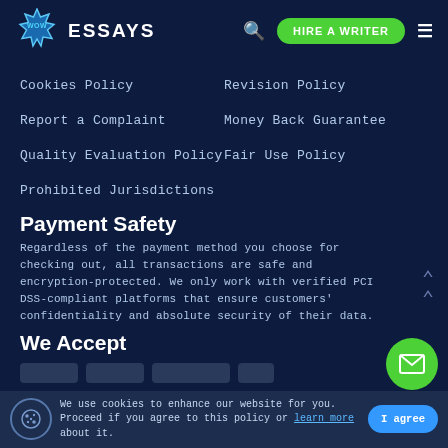WOW ESSAYS — HIRE A WRITER
Cookies Policy
Revision Policy
Report a Complaint
Money Back Guarantee
Quality Evaluation Policy
Fair Use Policy
Prohibited Jurisdictions
Payment Safety
Regardless of the payment method you choose for checking out, all transactions are safe and encryption-protected. We only work with verified PCI DSS-compliant platforms that ensure customers' confidentiality and absolute security of their data.
We Accept
We use cookies to enhance our website for you. Proceed if you agree to this policy or learn more about it.